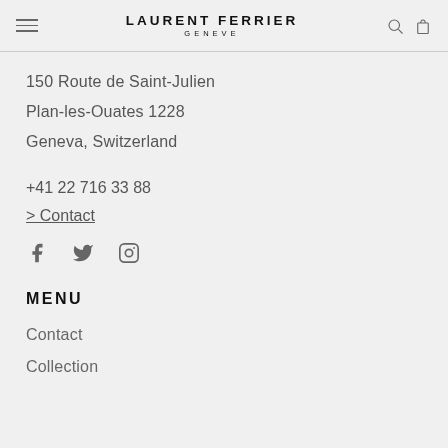LAURENT FERRIER GENEVE
150 Route de Saint-Julien
Plan-les-Ouates 1228
Geneva, Switzerland
+41 22 716 33 88
> Contact
[Figure (other): Social media icons: Facebook, Twitter, Instagram]
MENU
Contact
Collection